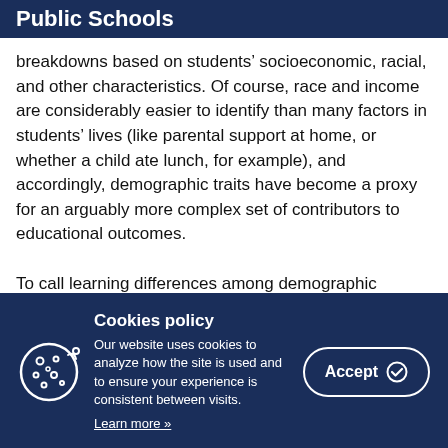Public Schools
breakdowns based on students' socioeconomic, racial, and other characteristics. Of course, race and income are considerably easier to identify than many factors in students' lives (like parental support at home, or whether a child ate lunch, for example), and accordingly, demographic traits have become a proxy for an arguably more complex set of contributors to educational outcomes.

To call learning differences among demographic
Cookies policy
Our website uses cookies to analyze how the site is used and to ensure your experience is consistent between visits.
Learn more »
Accept